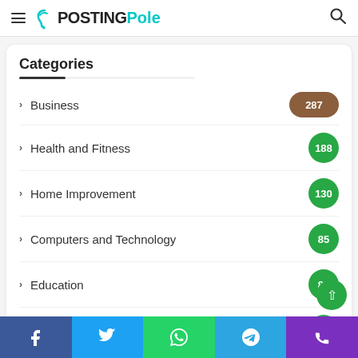PostingPole
Categories
Business 287
Health and Fitness 188
Home Improvement 130
Computers and Technology 85
Education 83
Tech 74
Travel 68
Services